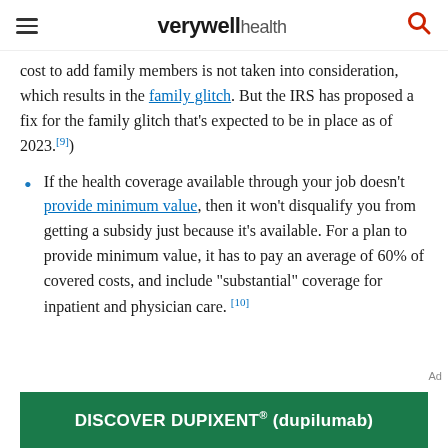verywell health
cost to add family members is not taken into consideration, which results in the family glitch. But the IRS has proposed a fix for the family glitch that's expected to be in place as of 2023.[9])
If the health coverage available through your job doesn't provide minimum value, then it won't disqualify you from getting a subsidy just because it's available. For a plan to provide minimum value, it has to pay an average of 60% of covered costs, and include "substantial" coverage for inpatient and physician care.[10]
[Figure (other): Green advertisement banner for DISCOVER DUPIXENT® (dupilumab)]